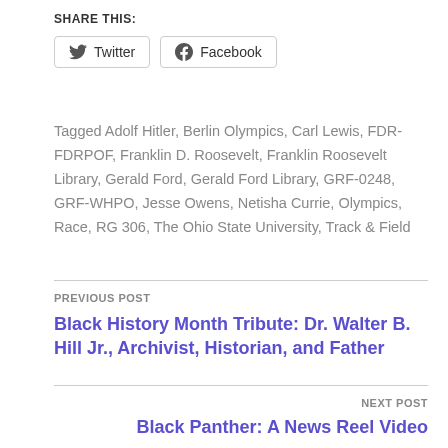SHARE THIS:
[Figure (other): Social share buttons for Twitter and Facebook]
Tagged Adolf Hitler, Berlin Olympics, Carl Lewis, FDR-FDRPOF, Franklin D. Roosevelt, Franklin Roosevelt Library, Gerald Ford, Gerald Ford Library, GRF-0248, GRF-WHPO, Jesse Owens, Netisha Currie, Olympics, Race, RG 306, The Ohio State University, Track & Field
PREVIOUS POST
Black History Month Tribute: Dr. Walter B. Hill Jr., Archivist, Historian, and Father
NEXT POST
Black Panther: A News Reel Video